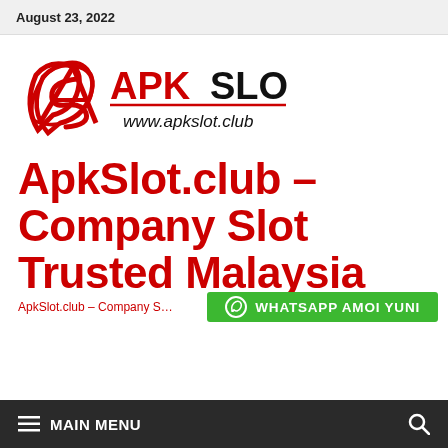August 23, 2022
[Figure (logo): APKSLOT logo with stylized AS emblem in red and black, with www.apkslot.club text]
ApkSlot.club – Company Slot Trusted Malaysia
ApkSlot.club – Company S…
WHATSAPP AMOI YUNI
MAIN MENU